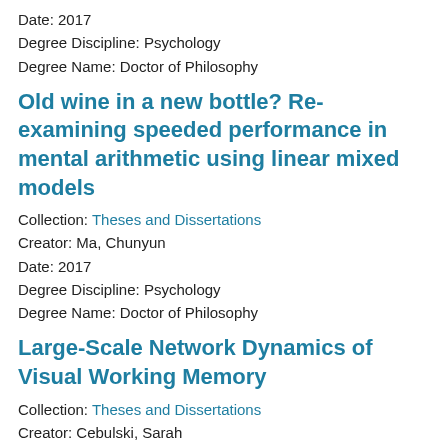Date: 2017
Degree Discipline: Psychology
Degree Name: Doctor of Philosophy
Old wine in a new bottle? Re-examining speeded performance in mental arithmetic using linear mixed models
Collection: Theses and Dissertations
Creator: Ma, Chunyun
Date: 2017
Degree Discipline: Psychology
Degree Name: Doctor of Philosophy
Large-Scale Network Dynamics of Visual Working Memory
Collection: Theses and Dissertations
Creator: Cebulski, Sarah
Date: 2017
Degree Discipline: Cognitive Science